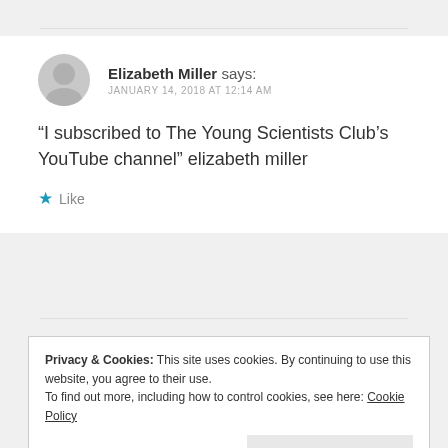Elizabeth Miller says: JANUARY 14, 2018 AT 12:14 AM
“I subscribed to The Young Scientists Club’s YouTube channel” elizabeth miller
★ Like
Privacy & Cookies: This site uses cookies. By continuing to use this website, you agree to their use.
To find out more, including how to control cookies, see here: Cookie Policy
Close and accept